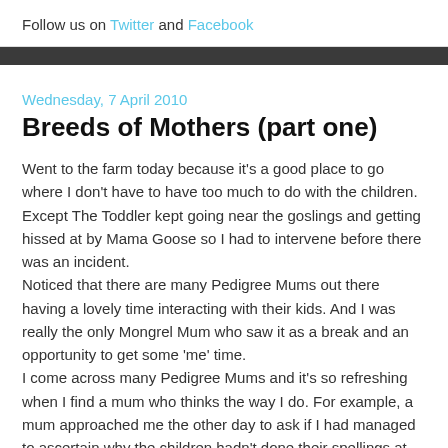Follow us on Twitter and Facebook
Wednesday, 7 April 2010
Breeds of Mothers (part one)
Went to the farm today because it's a good place to go where I don't have to have too much to do with the children. Except The Toddler kept going near the goslings and getting hissed at by Mama Goose so I had to intervene before there was an incident.
Noticed that there are many Pedigree Mums out there having a lovely time interacting with their kids. And I was really the only Mongrel Mum who saw it as a break and an opportunity to get some 'me' time.
I come across many Pedigree Mums and it's so refreshing when I find a mum who thinks the way I do. For example, a mum approached me the other day to ask if I had managed to ascertain why the children hadn't done their spellings at school. I was like "oh haven't they? what, it's their day for